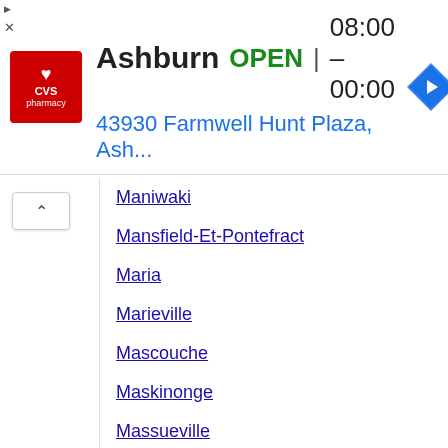[Figure (screenshot): CVS Pharmacy advertisement banner showing Ashburn location, OPEN status, hours 08:00-00:00, address 43930 Farmwell Hunt Plaza, Ash..., with CVS logo and navigation arrow icon]
Maniwaki
Mansfield-Et-Pontefract
Maria
Marieville
Mascouche
Maskinonge
Massueville
Matane
Mayo
Mcmasterville
Mercier
Messines